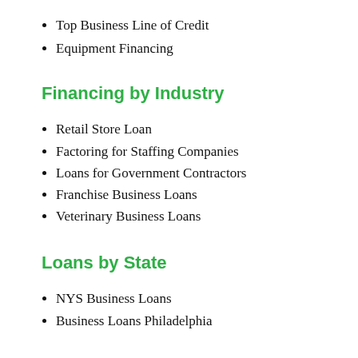Top Business Line of Credit
Equipment Financing
Financing by Industry
Retail Store Loan
Factoring for Staffing Companies
Loans for Government Contractors
Franchise Business Loans
Veterinary Business Loans
Loans by State
NYS Business Loans
Business Loans Philadelphia